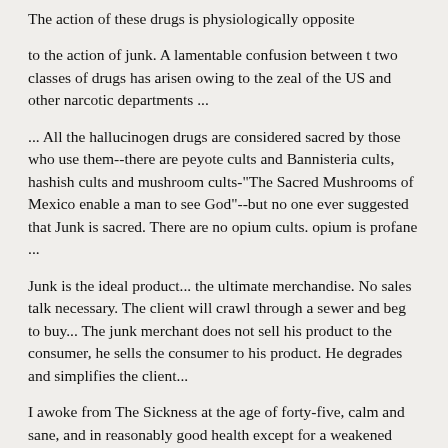The action of these drugs is physiologically opposite
to the action of junk. A lamentable confusion between t two classes of drugs has arisen owing to the zeal of the US and other narcotic departments ...
... All the hallucinogen drugs are considered sacred by those who use them--there are peyote cults and Bannisteria cults, hashish cults and mushroom cults-"The Sacred Mushrooms of Mexico enable a man to see God"--but no one ever suggested that Junk is sacred. There are no opium cults. opium is profane ...
Junk is the ideal product... the ultimate merchandise. No sales talk necessary. The client will crawl through a sewer and beg to buy... The junk merchant does not sell his product to the consumer, he sells the consumer to his product. He degrades and simplifies the client...
I awoke from The Sickness at the age of forty-five, calm and sane, and in reasonably good health except for a weakened liver and the look of borrowed flesh common to all who survive The Sickness...Most survivors do not remember the delirium in detail. I @Lpparently took detailed notes on sickness and delirium. I have no precise memory of writing the notes which have now been published under the title Naked Lunch.